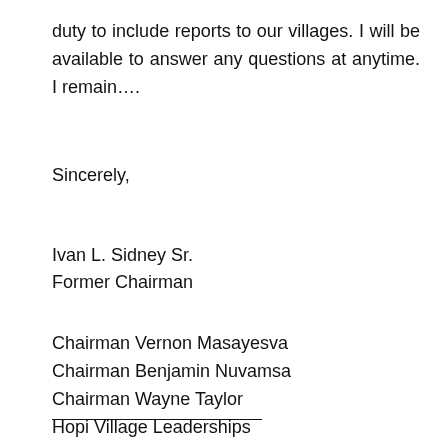duty to include reports to our villages. I will be available to answer any questions at anytime. I remain….
Sincerely,
Ivan L. Sidney Sr.
Former Chairman
Chairman Vernon Masayesva
Chairman Benjamin Nuvamsa
Chairman Wayne Taylor
Hopi Village Leaderships